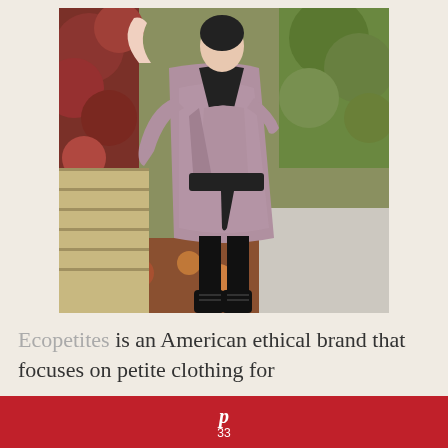[Figure (photo): A woman wearing a mauve/purple knit wrap dress with a black sash belt and black leggings, standing outdoors in front of red autumn foliage and greenery. She is wearing black lace-up boots and has one arm raised.]
Ecopetites is an American ethical brand that focuses on petite clothing for
P 33